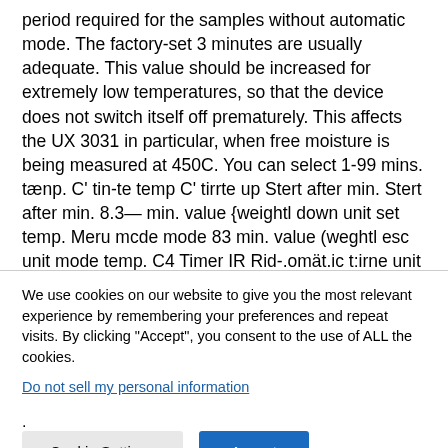period required for the samples without automatic mode. The factory-set 3 minutes are usually adequate. This value should be increased for extremely low temperatures, so that the device does not switch itself off prematurely. This affects the UX 3031 in particular, when free moisture is being measured at 450C. You can select 1-99 mins. tænp. C' tin-te temp C' tirrte up Stert after min. Stert after min. 8.3— min. value {weightl down unit set temp. Meru mcde mode 83 min. value (weghtl esc unit mode temp. C4 Timer IR Rid-.omät.ic t:irne unit value (wei#tl down made value (wei$tJ unit The timer setting is the same as described for the quartz heater. Values for the luminous and quartz heaters (only
We use cookies on our website to give you the most relevant experience by remembering your preferences and repeat visits. By clicking "Accept", you consent to the use of ALL the cookies.
Do not sell my personal information.